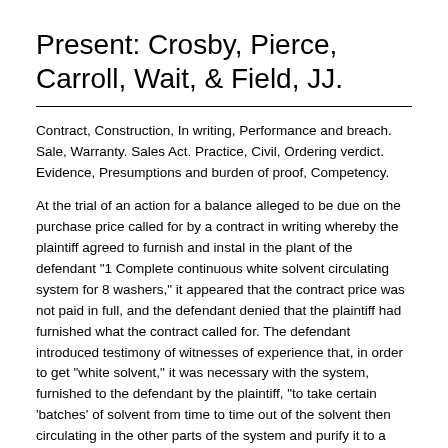Present: Crosby, Pierce, Carroll, Wait, & Field, JJ.
Contract, Construction, In writing, Performance and breach. Sale, Warranty. Sales Act. Practice, Civil, Ordering verdict. Evidence, Presumptions and burden of proof, Competency.
At the trial of an action for a balance alleged to be due on the purchase price called for by a contract in writing whereby the plaintiff agreed to furnish and instal in the plant of the defendant "1 Complete continuous white solvent circulating system for 8 washers," it appeared that the contract price was not paid in full, and the defendant denied that the plaintiff had furnished what the contract called for. The defendant introduced testimony of witnesses of experience that, in order to get "white solvent," it was necessary with the system, furnished to the defendant by the plaintiff, "to take certain 'batches' of solvent from time to time out of the solvent then circulating in the other parts of the system and purify it to a water white color, and during the time said batch is being purified, the remaining solvent then circulating through the